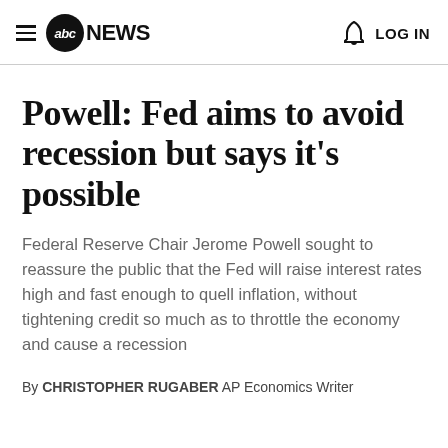abc NEWS  LOG IN
Powell: Fed aims to avoid recession but says it's possible
Federal Reserve Chair Jerome Powell sought to reassure the public that the Fed will raise interest rates high and fast enough to quell inflation, without tightening credit so much as to throttle the economy and cause a recession
By CHRISTOPHER RUGABER AP Economics Writer